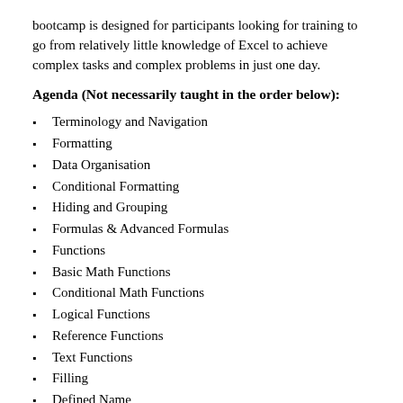bootcamp is designed for participants looking for training to go from relatively little knowledge of Excel to achieve complex tasks and complex problems in just one day.
Agenda (Not necessarily taught in the order below):
Terminology and Navigation
Formatting
Data Organisation
Conditional Formatting
Hiding and Grouping
Formulas & Advanced Formulas
Functions
Basic Math Functions
Conditional Math Functions
Logical Functions
Reference Functions
Text Functions
Filling
Defined Name
PivotTables